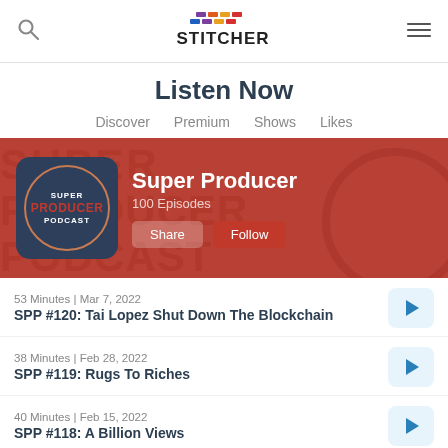Stitcher – Listen Now
Listen Now
Discover  Premium  Shows  Likes
[Figure (screenshot): Super Producer Podcast featured banner with podcast cover art showing 'SUPER PRODUCER PODCAST' in a circle on dark blue background, podcast title 'Super Producer', '100 Episodes', and Share/Follow buttons on a dark red background with watermark text 'SUPER PRODUCER PODCAST']
53 Minutes | Mar 7, 2022
SPP #120: Tai Lopez Shut Down The Blockchain
38 Minutes | Feb 28, 2022
SPP #119: Rugs To Riches
40 Minutes | Feb 15, 2022
SPP #118: A Billion Views
20 Minutes | Jan 24, 2022